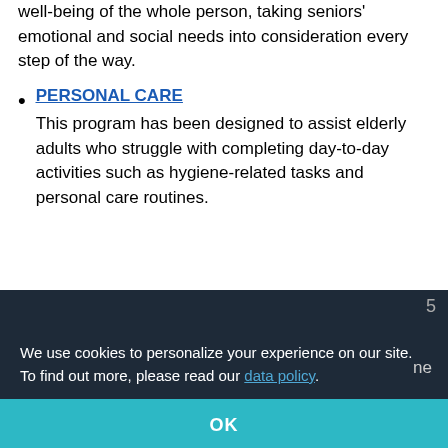well-being of the whole person, taking seniors' emotional and social needs into consideration every step of the way.
PERSONAL CARE — This program has been designed to assist elderly adults who struggle with completing day-to-day activities such as hygiene-related tasks and personal care routines.
We use cookies to personalize your experience on our site. To find out more, please read our data policy.
OK